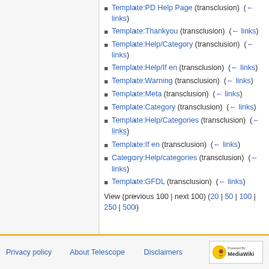Template:PD Help Page (transclusion) (← links)
Template:Thankyou (transclusion) (← links)
Template:Help/Category (transclusion) (← links)
Template:Help/If en (transclusion) (← links)
Template:Warning (transclusion) (← links)
Template:Meta (transclusion) (← links)
Template:Category (transclusion) (← links)
Template:Help/Categories (transclusion) (← links)
Template:If en (transclusion) (← links)
Category:Help/categories (transclusion) (← links)
Template:GFDL (transclusion) (← links)
View (previous 100 | next 100) (20 | 50 | 100 | 250 | 500)
Privacy policy   About Telescope   Disclaimers